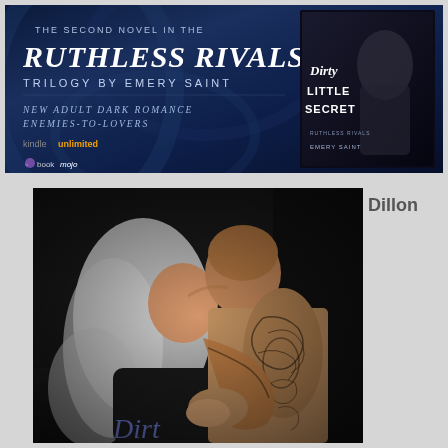[Figure (illustration): Book promotional banner for 'Dirty Little Secret' by Emery Saint, described as the second novel in the Ruthless Rivals Trilogy. Dark blue satin background with text: 'THE SECOND NOVEL IN THE RUTHLESS RIVALS TRILOGY BY EMERY SAINT', 'NEW ADULT DARK ROMANCE ENEMIES-TO-LOVERS', 'kindleunlimited', 'bookmojo' logo. Book cover image on right showing a tattooed male figure.]
Dillon
[Figure (photo): Romantic book cover photo showing a blonde woman and a tattooed shirtless man in an intimate close pose. The man has extensive tattoo sleeve artwork on his arm. Dark moody lighting with text 'Dirt...' partially visible at the bottom.]